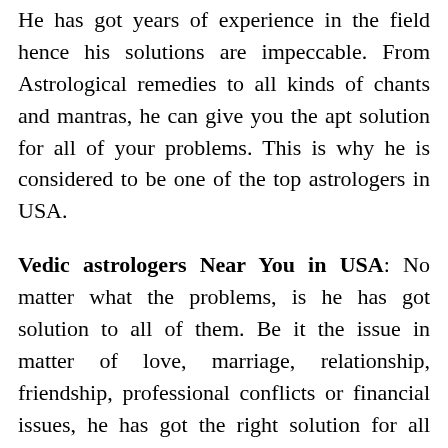He has got years of experience in the field hence his solutions are impeccable. From Astrological remedies to all kinds of chants and mantras, he can give you the apt solution for all of your problems. This is why he is considered to be one of the top astrologers in USA.
Vedic astrologers Near You in USA: No matter what the problems, is he has got solution to all of them. Be it the issue in matter of love, marriage, relationship, friendship, professional conflicts or financial issues, he has got the right solution for all your problems.
This is the reason, none of his clients has ever gone disappointed from his door step which